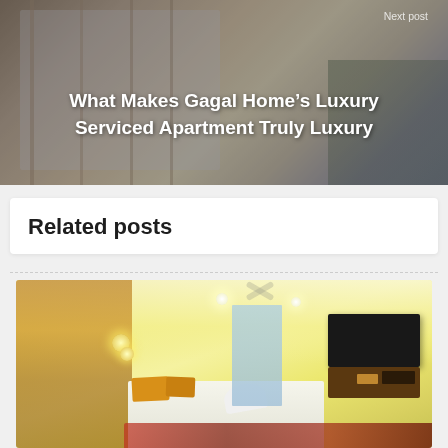[Figure (photo): Top banner photo of a serviced apartment interior (frosted glass windows, curtains, dark tone). Overlaid with 'Next post' label and bold white title text: 'What Makes Gagal Home's Luxury Serviced Apartment Truly Luxury']
Next post
What Makes Gagal Home’s Luxury Serviced Apartment Truly Luxury
Related posts
[Figure (photo): Interior photo of a luxury serviced apartment room with yellow-toned warm lighting, decorative floral wallpaper on left wall, ceiling fan, recessed lighting, a flat-screen TV on the right, beds with yellow pillows and decorative towel swans, and a colorful rug.]